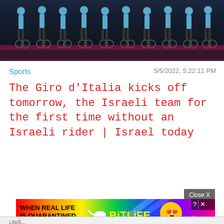[Figure (photo): A group of cyclists in teal/blue team jerseys standing on a dark stage with dramatic lighting, likely a team presentation event for the Giro d'Italia.]
Sports
5/5/2022, 5:22:11 PM
The Giro d'Italia kicks off tomorrow, the Israeli team for the first time without an Israeli rider | Israel today
[Figure (photo): BitLife advertisement banner with rainbow gradient background. Text reads: WHEN REAL LIFE IS QUARANTINED with BitLife logo and emoji icons.]